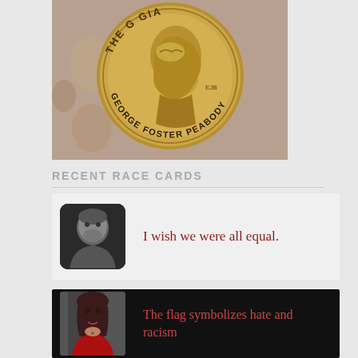[Figure (photo): George Foster Peabody award medal, a bronze coin with a profile portrait and text reading 'THE GEORGE FOSTER PEABODY' around the rim]
RECENT RACE CARDS
[Figure (photo): Race card entry with a black and white portrait photo on left and text on right reading: I wish we were all equal.]
[Figure (photo): Race card entry with dark background, a color portrait photo of a woman in red on left and text on right reading: The flag symbolizes hate and racism]